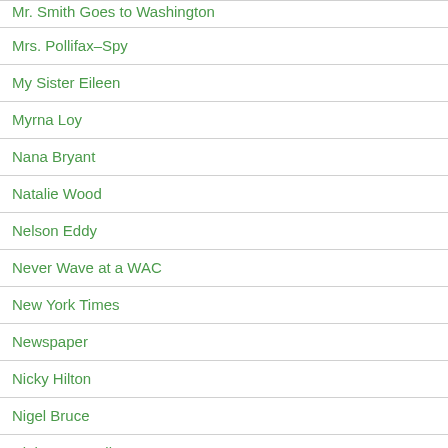Mr. Smith Goes to Washington
Mrs. Pollifax–Spy
My Sister Eileen
Myrna Loy
Nana Bryant
Natalie Wood
Nelson Eddy
Never Wave at a WAC
New York Times
Newspaper
Nicky Hilton
Nigel Bruce
Night Must Fall